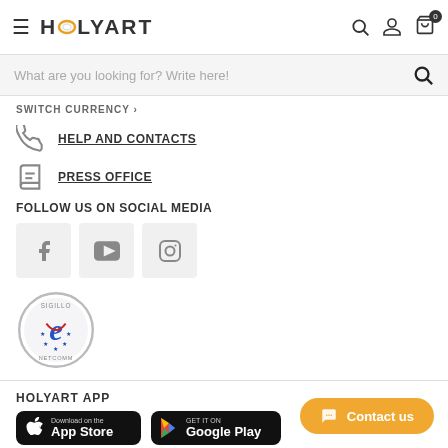HOLYART - Navigation header with hamburger menu, logo, search, user, and cart icons
What are you looking for? Write here!
SWITCH CURRENCY
HELP AND CONTACTS
PRESS OFFICE
FOLLOW US ON SOCIAL MEDIA
[Figure (logo): Social media icons: Facebook, YouTube, Instagram]
[Figure (logo): Sigillo Netcomm e-commerce quality badge]
HOLYART APP
[Figure (logo): Download on the App Store button]
[Figure (logo): Get it on Google Play button]
Contact us